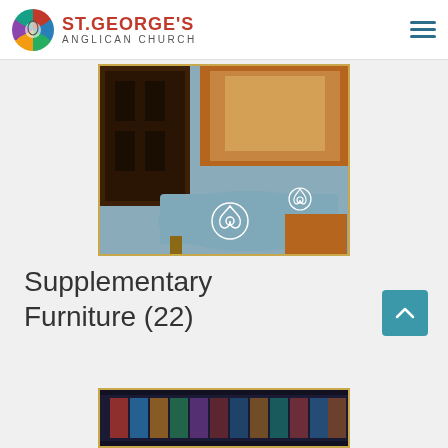St. George's Anglican Church
[Figure (photo): Photo of wooden church furniture (lectern or altar piece) with carved Gothic details and a blue kneeler/step with white Celtic trinity knot symbols embroidered on it]
Supplementary Furniture (22)
[Figure (photo): Partial view of a darkly-lit church interior photo, bottom portion cut off]